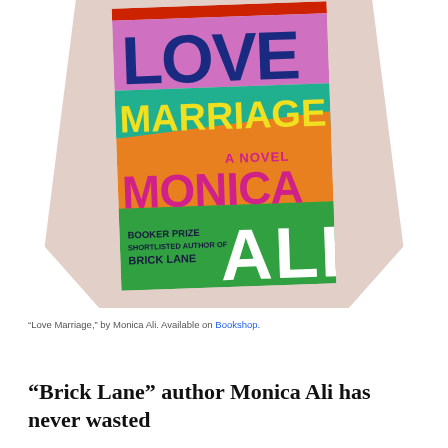[Figure (photo): Book cover of 'Love Marriage' by Monica Ali, a novel. Colorful cover with bold typography: 'LOVE' in dark blue on pink, 'MARRIAGE' in yellow on teal, 'A NOVEL' in magenta on orange, 'MONICA' in magenta on orange, 'ALI' in white on green. Bottom-left text reads 'BOOKER PRIZE SHORTLISTED AUTHOR OF BRICK LANE'. The book is displayed at a slight angle on a beige/tan shadow background.]
“Love Marriage,” by Monica Ali. Available on Bookshop.
“Brick Lane” author Monica Ali has never wasted